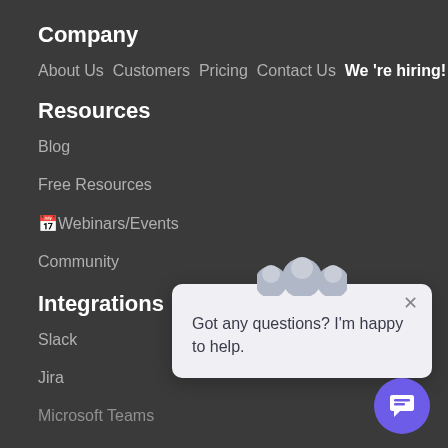Company
About Us Customers Pricing Contact Us We 're hiring!
Resources
Blog
Free Resources
🗓Webinars/Events
Community
Integrations
Slack
Jira
Microsoft Teams
[Figure (screenshot): Chat popup widget with avatar icons and message 'Got any questions? I'm happy to help.' with close button, and a purple chat button in the bottom right corner.]